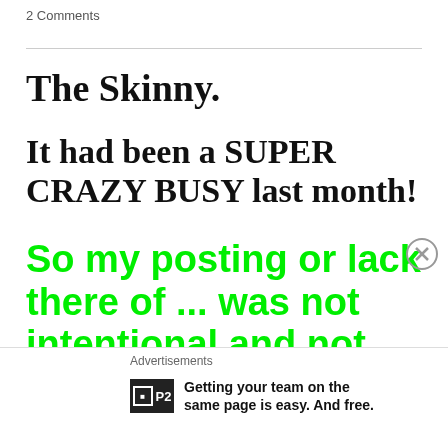2 Comments
The Skinny.
It had been a SUPER CRAZY BUSY last month!
So my posting or lack there of ... was not intentional and not the way I wanted to kick start
Advertisements
Getting your team on the same page is easy. And free.